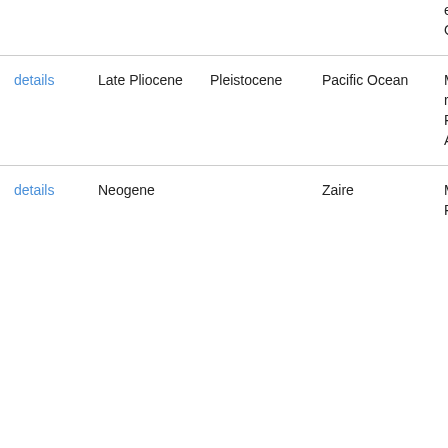|  | Age | Epoch | Location | Reference |
| --- | --- | --- | --- | --- |
|  |  |  |  | example in the ab Atlantic a Oceans. |
| details | Late Pliocene | Pleistocene | Pacific Ocean | McCarth al. The palynoło record o terrigenc the deep Pliocene example in the ab Atlantic a Oceans. |
| details | Neogene |  | Zaire | Maley,J. Dense H Africaine Principa caract© des cha |